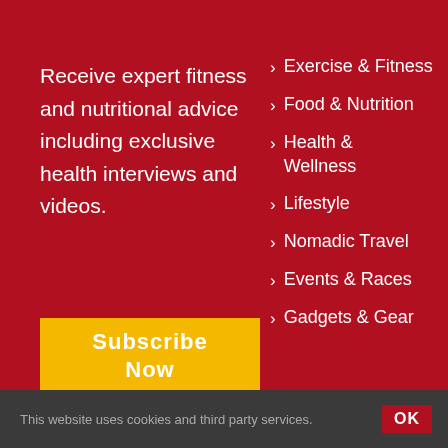Receive expert fitness and nutritional advice including exclusive health interviews and videos.
Exercise & Fitness
Food & Nutrition
Health & Wellness
Lifestyle
Nomadic Travel
Events & Races
Gadgets & Gear
Subscribe Now
This website uses cookies and third party services. OK